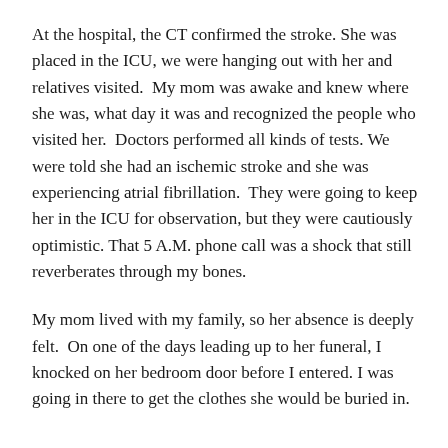At the hospital, the CT confirmed the stroke. She was placed in the ICU, we were hanging out with her and relatives visited.  My mom was awake and knew where she was, what day it was and recognized the people who visited her.  Doctors performed all kinds of tests. We were told she had an ischemic stroke and she was experiencing atrial fibrillation.  They were going to keep her in the ICU for observation, but they were cautiously optimistic. That 5 A.M. phone call was a shock that still reverberates through my bones.
My mom lived with my family, so her absence is deeply felt.  On one of the days leading up to her funeral, I knocked on her bedroom door before I entered. I was going in there to get the clothes she would be buried in.